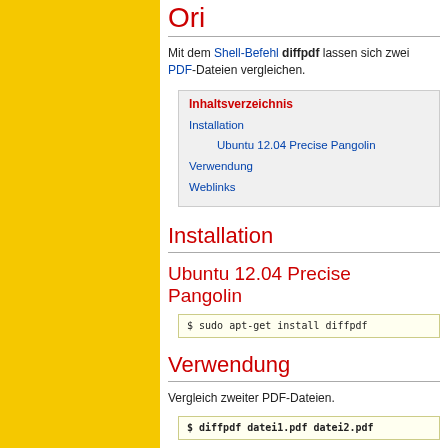On
Mit dem Shell-Befehl diffpdf lassen sich zwei PDF-Dateien vergleichen.
| Inhaltsverzeichnis |
| --- |
| Installation |
| Ubuntu 12.04 Precise Pangolin |
| Verwendung |
| Weblinks |
Installation
Ubuntu 12.04 Precise Pangolin
$ sudo apt-get install diffpdf
Verwendung
Vergleich zweiter PDF-Dateien.
$ diffpdf datei1.pdf datei2.pdf